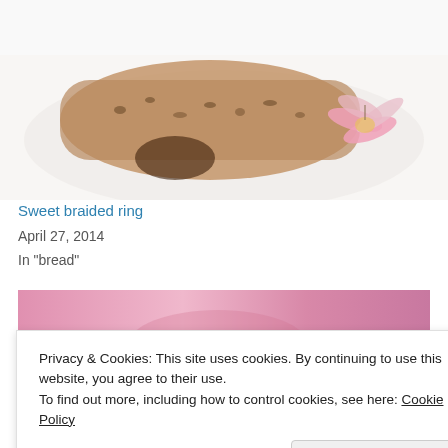[Figure (photo): A sweet braided pastry ring topped with nuts/seeds and garnished with a pink lily flower, on a white plate, against a white background.]
Sweet braided ring
April 27, 2014
In "bread"
[Figure (photo): Partial view of a food item on a pink blurred background.]
Privacy & Cookies: This site uses cookies. By continuing to use this website, you agree to their use.
To find out more, including how to control cookies, see here: Cookie Policy
Close and accept